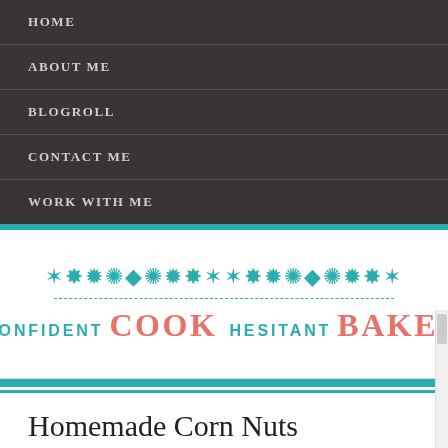HOME
ABOUT ME
BLOGROLL
CONTACT ME
WORK WITH ME
[Figure (logo): Confident Cook Hesitant Baker blog logo with teal ornamental flourish and dashed border line]
Homemade Corn Nuts
June 18, 2012 · by Hindy Garfinkel ·